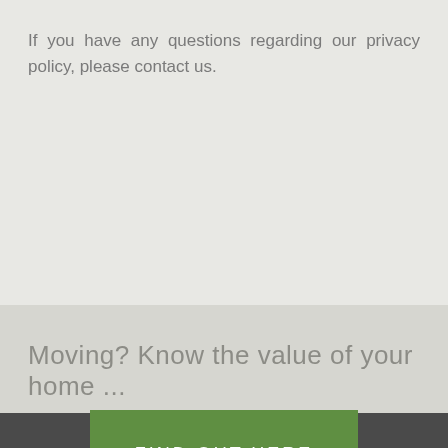If you have any questions regarding our privacy policy, please contact us.
Moving? Know the value of your home ...
FIND OUT HERE